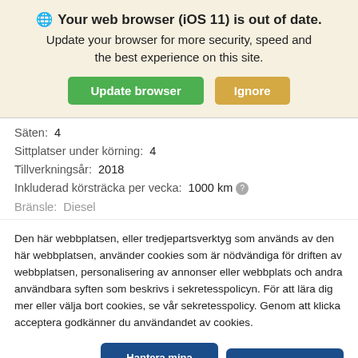Your web browser (iOS 11) is out of date. Update your browser for more security, speed and the best experience on this site.
Säten:  4
Sittplatser under körning:  4
Tillverkningsår:  2018
Inkluderad körsträcka per vecka:  1000 km
Bränsle:  Diesel
Den här webbplatsen, eller tredjepartsverktyg som används av den här webbplatsen, använder cookies som är nödvändiga för driften av webbplatsen, personalisering av annonser eller webbplats och andra användbara syften som beskrivs i sekretesspolicyn. För att lära dig mer eller välja bort cookies, se vår sekretesspolicy. Genom att klicka acceptera godkänner du användandet av cookies.
Sekretesspolicy
Hantera mina cookies
Acceptera alla